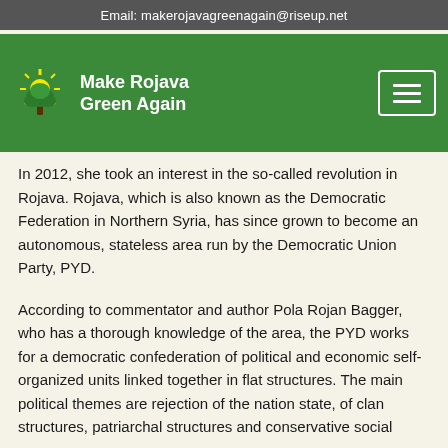Email: makerojavagreenagain@riseup.net
[Figure (logo): Make Rojava Green Again logo with sun/tree icon and navigation hamburger menu on green background]
Last year, she was helping to enter Slagtergardene in Vesterøro (a safe squat), which were about to be demolished. In connection, she is awaiting a fine for trespassing. She has not been convicted of anything.
In 2012, she took an interest in the so-called revolution in Rojava. Rojava, which is also known as the Democratic Federation in Northern Syria, has since grown to become an autonomous, stateless area run by the Democratic Union Party, PYD.
According to commentator and author Pola Rojan Bagger, who has a thorough knowledge of the area, the PYD works for a democratic confederation of political and economic self-organized units linked together in flat structures. The main political themes are rejection of the nation state, of clan structures, patriarchal structures and conservative social norms.